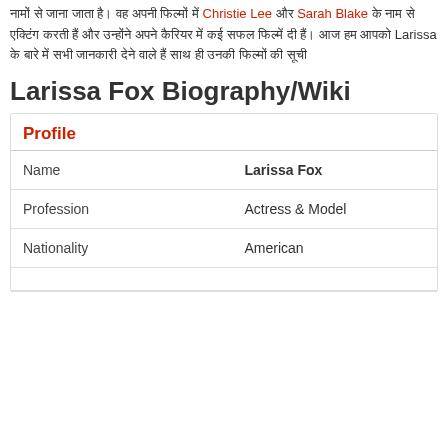[Hindi text] Christie Lee और Sarah Blake [Hindi text] Larissa [Hindi text]
Larissa Fox Biography/Wiki
|  |  |
| --- | --- |
| Profile |  |
| Name | Larissa Fox |
| Profession | Actress & Model |
| Nationality | American |